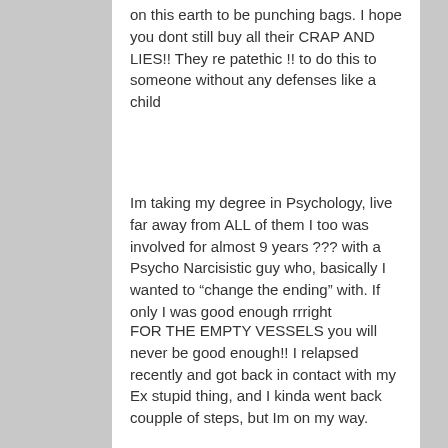on this earth to be punching bags. I hope you dont still buy all their CRAP AND LIES!! They re patethic !! to do this to someone without any defenses like a child
Im taking my degree in Psychology, live far away from ALL of them I too was involved for almost 9 years ??? with a Psycho Narcisistic guy who, basically I wanted to “change the ending” with. If only I was good enough rrright
FOR THE EMPTY VESSELS you will never be good enough!! I relapsed recently and got back in contact with my Ex stupid thing, and I kinda went back coupple of steps, but Im on my way.